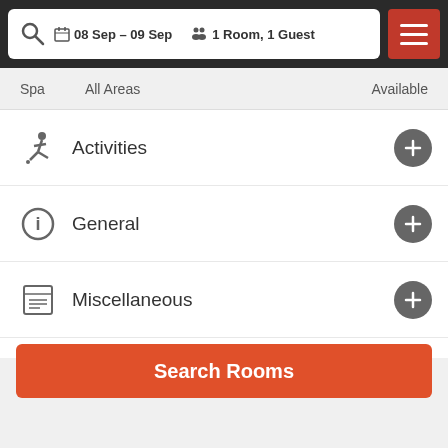08 Sep - 09 Sep  1 Room, 1 Guest
Spa   All Areas   Available
Activities
General
Miscellaneous
Pool and wellness
Reception services
Room Facilities
Search Rooms